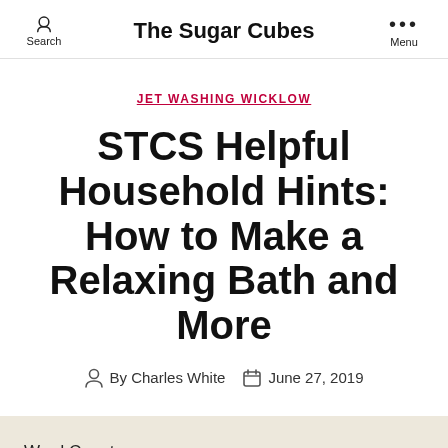The Sugar Cubes
JET WASHING WICKLOW
STCS Helpful Household Hints: How to Make a Relaxing Bath and More
By Charles White  June 27, 2019
Word Count:
748